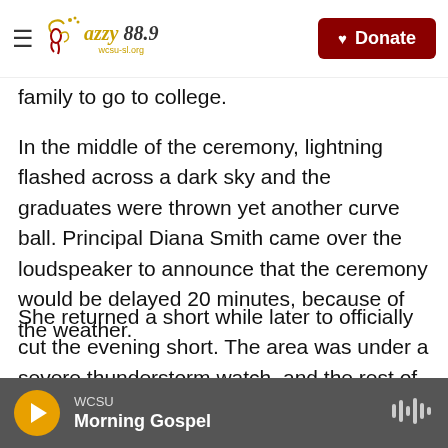Jazzy 88.9 WCSU — Donate
family to go to college.
In the middle of the ceremony, lightning flashed across a dark sky and the graduates were thrown yet another curve ball. Principal Diana Smith came over the loudspeaker to announce that the ceremony would be delayed 20 minutes, because of the weather.
She returned a short while later to officially cut the evening short. The area was under a severe thunderstorm watch, and the rest of the graduates would get their diplomas in the morning, back at the school.
WCSU — Morning Gospel